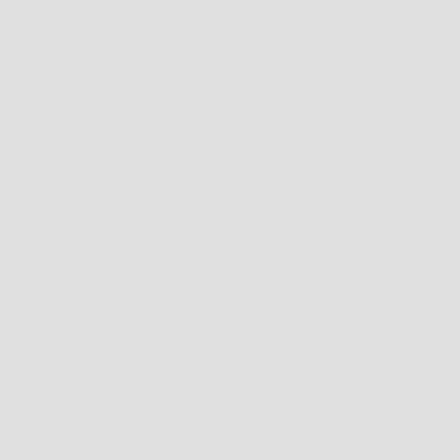''Jan 5'' &color(red){''... (strikethrough red)
''Jan 5'' &br;
We congratulate &color(#...

Doctoral Thesis Title: &...
&color(#8B008B){''''"Comp
  In Japanese: 　　　　　　　　　　
Loric is a student of th
''*''View a picture from

**2017 [#i9e20a2c]

~''Dec 26'' &br;
We held our year-end par
''*''View our group phot

~''Dec 22'' &br;
We congratulate our secr
''*''View our group phot

~''Dec 14'' &br;
We congratulate our rese

'''Masaya Yoshikai, Taka

~''Dec 14'' &br;
''Publications list'' ha

~''Nov 30'' &br;
''Publications list'' ha

~''Nov 28'' &br;